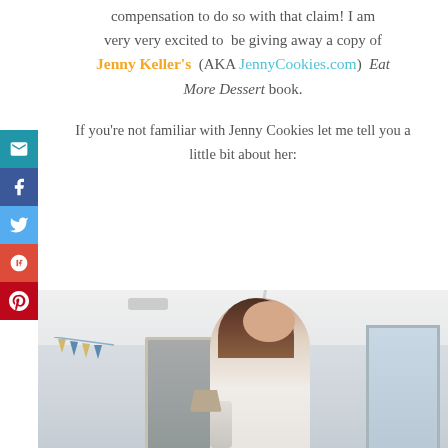compensation to do so with that claim! I am very very excited to be giving away a copy of Jenny Keller's (AKA JennyCookies.com) Eat More Dessert book.
If you're not familiar with Jenny Cookies let me tell you a little bit about her:
[Figure (photo): Photo of a woman (Jenny Keller) smiling in a decorated room with bunting banners, windows, and a mirror in the background]